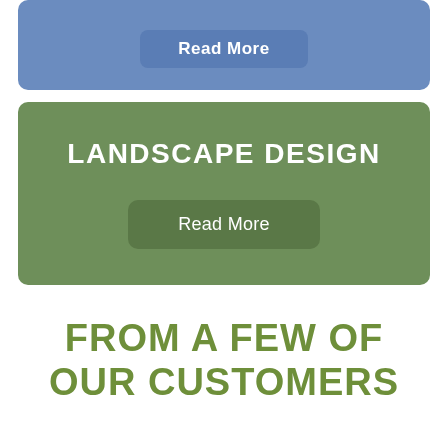[Figure (screenshot): Blue card with a 'Read More' button partially visible at the top of the page]
[Figure (screenshot): Green card with 'LANDSCAPE DESIGN' title and a 'Read More' button]
FROM A FEW OF OUR CUSTOMERS